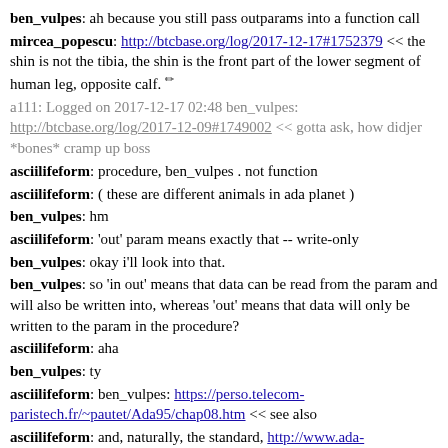ben_vulpes: ah because you still pass outparams into a function call
mircea_popescu: http://btcbase.org/log/2017-12-17#1752379 << the shin is not the tibia, the shin is the front part of the lower segment of human leg, opposite calf.
a111: Logged on 2017-12-17 02:48 ben_vulpes: http://btcbase.org/log/2017-12-09#1749002 << gotta ask, how didjer *bones* cramp up boss
asciilifeform: procedure, ben_vulpes . not function
asciilifeform: ( these are different animals in ada planet )
ben_vulpes: hm
asciilifeform: 'out' param means exactly that -- write-only
ben_vulpes: okay i'll look into that.
ben_vulpes: so 'in out' means that data can be read from the param and will also be written into, whereas 'out' means that data will only be written to the param in the procedure?
asciilifeform: aha
ben_vulpes: ty
asciilifeform: ben_vulpes: https://perso.telecom-paristech.fr/~pautet/Ada95/chap08.htm << see also
asciilifeform: and, naturally, the standard, http://www.ada-auth.org/standards/12rat/html/Rat12-4-2.html
asciilifeform: ( ada params are a moar complicated matter than ffa might suggest: when reading heathen proggies you will encounter such things as 'aliased' i.e. pointerola , and related items. )